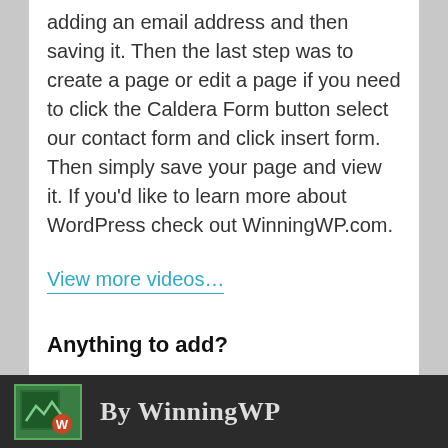adding an email address and then saving it. Then the last step was to create a page or edit a page if you need to click the Caldera Form button select our contact form and click insert form. Then simply save your page and view it. If you'd like to learn more about WordPress check out WinningWP.com.
View more videos...
Anything to add?
[Figure (logo): Dark footer bar with green logo icon and partial website branding text]